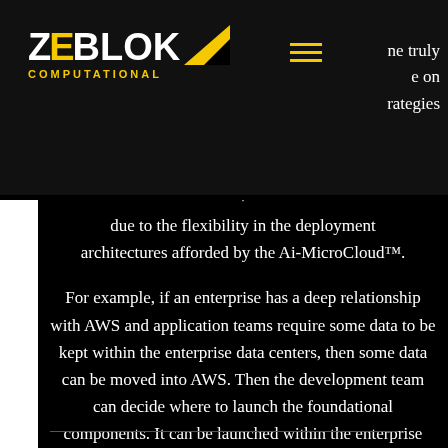Zeblok Computational
ne truly e on rategies due to the flexibility in the deployment architectures afforded by the Ai-MicroCloud™.
For example, if an enterprise has a deep relationship with AWS and application teams require some data to be kept within the enterprise data centers, then some data can be moved into AWS. Then the development team can decide where to launch the foundational components. It can be launched within the enterprise data center or in AWS, with comprehensive audit trails supporting any regulatory requirements.